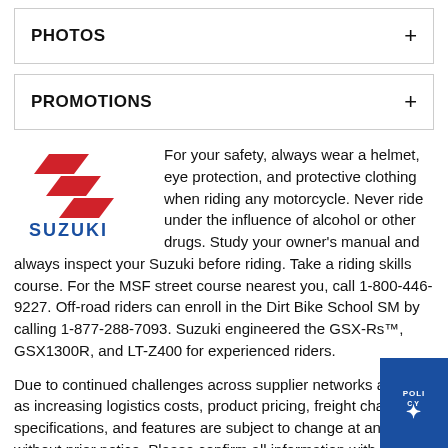PHOTOS
PROMOTIONS
[Figure (logo): Suzuki logo: red stylized S emblem above blue SUZUKI text]
For your safety, always wear a helmet, eye protection, and protective clothing when riding any motorcycle. Never ride under the influence of alcohol or other drugs. Study your owner's manual and always inspect your Suzuki before riding. Take a riding skills course. For the MSF street course nearest you, call 1-800-446-9227. Off-road riders can enroll in the Dirt Bike School SM by calling 1-877-288-7093. Suzuki engineered the GSX-Rs™, GSX1300R, and LT-Z400 for experienced riders.
Due to continued challenges across supplier networks as well as increasing logistics costs, product pricing, freight charges, specifications, and features are subject to change at any time without prior notice. Please confirm all information with your local dealership.